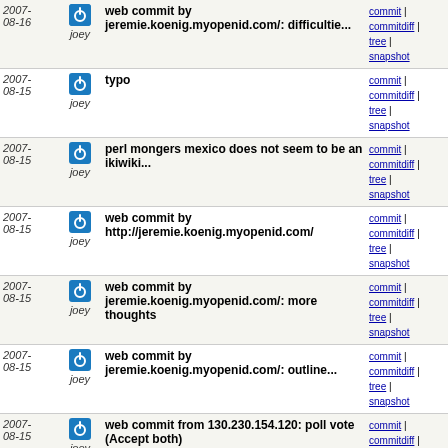| Date | Author | Message | Links |
| --- | --- | --- | --- |
| 2007-08-16 | joey | web commit by jeremie.koenig.myopenid.com/: difficultie... | commit | commitdiff | tree | snapshot |
| 2007-08-15 | joey | typo | commit | commitdiff | tree | snapshot |
| 2007-08-15 | joey | perl mongers mexico does not seem to be an ikiwiki... | commit | commitdiff | tree | snapshot |
| 2007-08-15 | joey | web commit by http://jeremie.koenig.myopenid.com/ | commit | commitdiff | tree | snapshot |
| 2007-08-15 | joey | web commit by jeremie.koenig.myopenid.com/: more thoughts | commit | commitdiff | tree | snapshot |
| 2007-08-15 | joey | web commit by jeremie.koenig.myopenid.com/: outline... | commit | commitdiff | tree | snapshot |
| 2007-08-15 | joey | web commit from 130.230.154.120: poll vote (Accept both) | commit | commitdiff | tree | snapshot |
| 2007-08-15 | joey | * Various minor fixes and stylistic improvements sugges... | commit | commitdiff | tree | snapshot |
| 2007-08-15 | joey | resp | commit | commitdiff | tree | snapshot |
| 2007-08-15 | joey | web commit by tschwinge: Hmm. | commit | commitdiff | tree | snapshot |